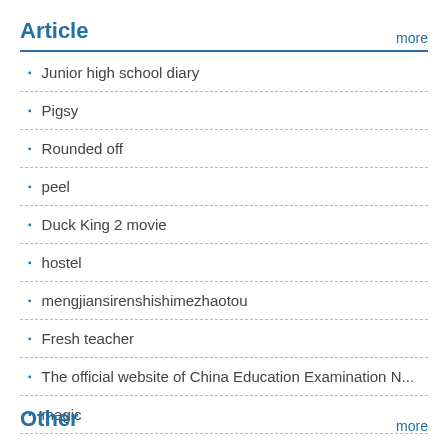Article
Junior high school diary
Pigsy
Rounded off
peel
Duck King 2 movie
hostel
mengjiansirenshishimezhaotou
Fresh teacher
The official website of China Education Examination N...
magic
Other